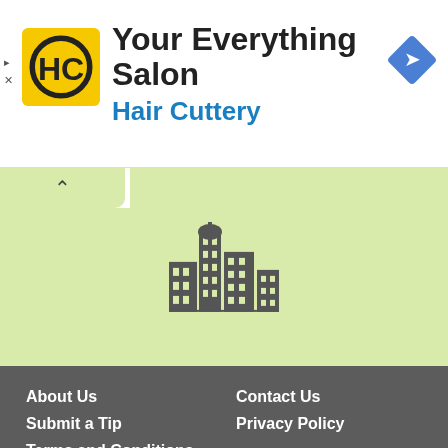[Figure (logo): Hair Cuttery ad banner with HC logo, 'Your Everything Salon' heading and 'Hair Cuttery' subheading in blue, blue diamond arrow icon on the right]
[Figure (illustration): Light green map area with a city/building silhouette icon in the center, and a collapsed tab with a chevron-up on the left]
About Us
Contact Us
Submit a Tip
Privacy Policy
Terms and Conditions
Trip Planning Caution: RoadsideAmerica.com offers maps, directions and attraction details as a convenience, providing all information as is. Attraction status, hours and prices change without notice; call ahead!
Credits, Media/Business Inquiries
© Copyright 1996-2022 Doug Kirby, Ken Smith, Mike Wilkins. All rights reserved. No portion of this document may be reproduced, copied or revised without written permission of the authors.